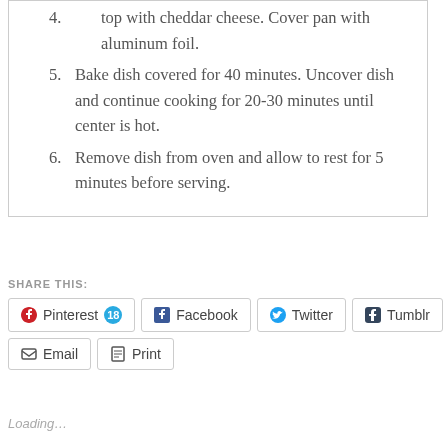top with cheddar cheese. Cover pan with aluminum foil.
5. Bake dish covered for 40 minutes. Uncover dish and continue cooking for 20-30 minutes until center is hot.
6. Remove dish from oven and allow to rest for 5 minutes before serving.
SHARE THIS:
Pinterest 18  Facebook  Twitter  Tumblr  Email  Print
Loading…